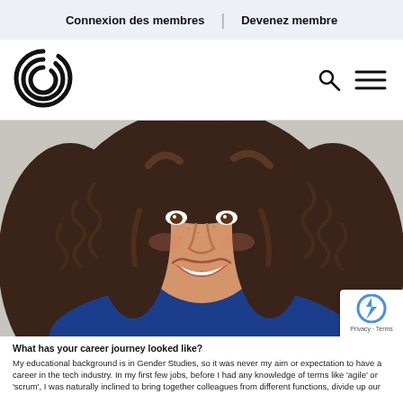Connexion des membres | Devenez membre
[Figure (logo): Circular spiral/checkmark logo in black]
[Figure (photo): Smiling woman with long curly brown hair, wearing a blue top, photographed from the shoulders up against a light gray background]
What has your career journey looked like?
My educational background is in Gender Studies, so it was never my aim or expectation to have a career in the tech industry. In my first few jobs, before I had any knowledge of terms like 'agile' or 'scrum', I was naturally inclined to bring together colleagues from different functions, divide up our